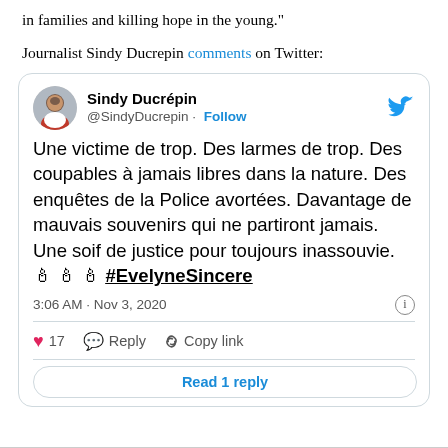in families and killing hope in the young."
Journalist Sindy Ducrepin comments on Twitter:
[Figure (screenshot): Embedded tweet from @SindyDucrepin (Sindy Ducrépin) dated 3:06 AM · Nov 3, 2020. Tweet text: 'Une victime de trop. Des larmes de trop. Des coupables à jamais libres dans la nature. Des enquêtes de la Police avortées. Davantage de mauvais souvenirs qui ne partiront jamais. Une soif de justice pour toujours inassouvie. 🕯🕯🕯 #EvelyneSincere'. Actions: 17 likes, Reply, Copy link. Button: Read 1 reply.]